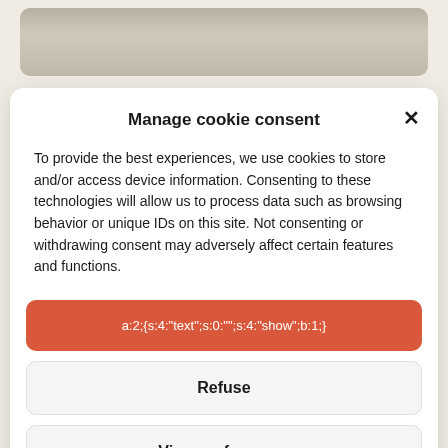[Figure (screenshot): Blurred background image of a building/storefront visible behind the modal dialog]
Manage cookie consent
To provide the best experiences, we use cookies to store and/or access device information. Consenting to these technologies will allow us to process data such as browsing behavior or unique IDs on this site. Not consenting or withdrawing consent may adversely affect certain features and functions.
a:2:{s:4:"text";s:0:"";s:4:"show";b:1;}
Refuse
View preferences
Terms of use   General terms of sale